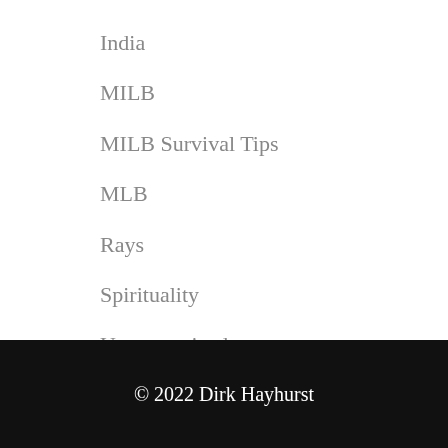India
MILB
MILB Survival Tips
MLB
Rays
Spirituality
Uncategorized
© 2022 Dirk Hayhurst